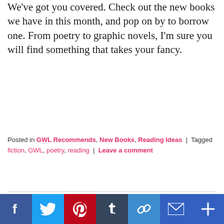We've got you covered. Check out the new books we have in this month, and pop on by to borrow one. From poetry to graphic novels, I'm sure you will find something that takes your fancy.
Posted in GWL Recommends, New Books, Reading Ideas | Tagged fiction, GWL, poetry, reading | Leave a comment
[Figure (photo): Book cover for 'the art of being normal' — dark teal/navy background with white cursive handwritten text reading 'the art of being normal']